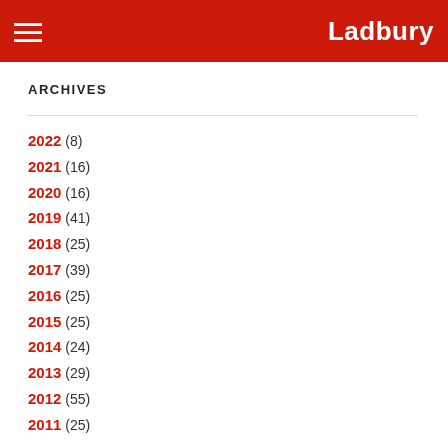Ladbury
ARCHIVES
2022 (8)
2021 (16)
2020 (16)
2019 (41)
2018 (25)
2017 (39)
2016 (25)
2015 (25)
2014 (24)
2013 (29)
2012 (55)
2011 (25)